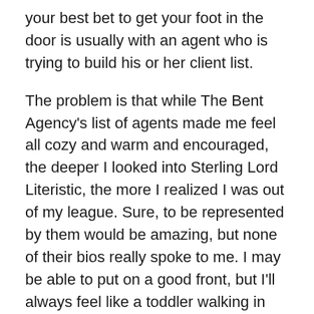your best bet to get your foot in the door is usually with an agent who is trying to build his or her client list.
The problem is that while The Bent Agency's list of agents made me feel all cozy and warm and encouraged, the deeper I looked into Sterling Lord Literistic, the more I realized I was out of my league. Sure, to be represented by them would be amazing, but none of their bios really spoke to me. I may be able to put on a good front, but I'll always feel like a toddler walking in my mom's big-girl shoes with these kinds of people. Maybe they speak to other authors who will go on to sell millions of books, but not this girl.
I would still love to sell millions of books, by the way, but if I ever do, I want my agent to be someone that I feel I can be myself with. It's one of those trust your gut instinct